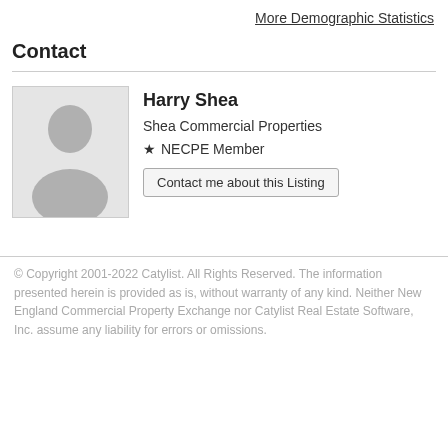More Demographic Statistics
Contact
[Figure (illustration): Placeholder avatar image of a person silhouette in gray]
Harry Shea
Shea Commercial Properties
★ NECPE Member
Contact me about this Listing
© Copyright 2001-2022 Catylist. All Rights Reserved. The information presented herein is provided as is, without warranty of any kind. Neither New England Commercial Property Exchange nor Catylist Real Estate Software, Inc. assume any liability for errors or omissions.